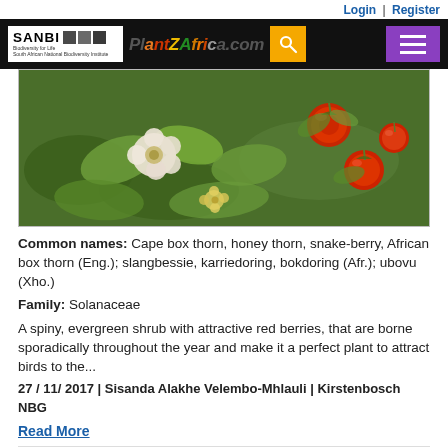Login | Register
[Figure (photo): Close-up photo of a spiny shrub plant with white flowers and red/orange berries (Lycium ferocissimum), green leaves in background]
Common names: Cape box thorn, honey thorn, snake-berry, African box thorn (Eng.); slangbessie, karriedoring, bokdoring (Afr.); ubovu (Xho.)
Family: Solanaceae
A spiny, evergreen shrub with attractive red berries, that are borne sporadically throughout the year and make it a perfect plant to attract birds to the...
27 / 11/ 2017 | Sisanda Alakhe Velembo-Mhlauli | Kirstenbosch NBG
Read More